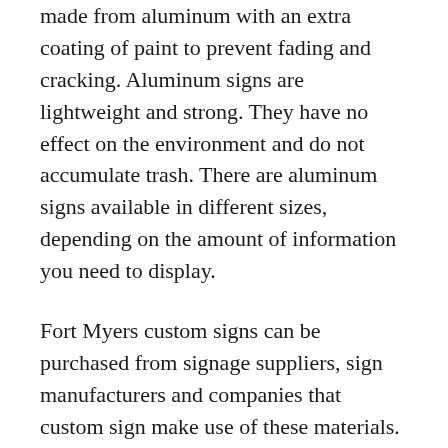made from aluminum with an extra coating of paint to prevent fading and cracking. Aluminum signs are lightweight and strong. They have no effect on the environment and do not accumulate trash. There are aluminum signs available in different sizes, depending on the amount of information you need to display.
Fort Myers custom signs can be purchased from signage suppliers, sign manufacturers and companies that custom sign make use of these materials. However, most signs in Fort Myers are made by sign companies that specialize in metal signs. Signs are generally created from either aluminum or steel. The type of material you choose should be determined by the kind of business that you run.
Business signage is a very important part of any business. In order to effectively advertise your